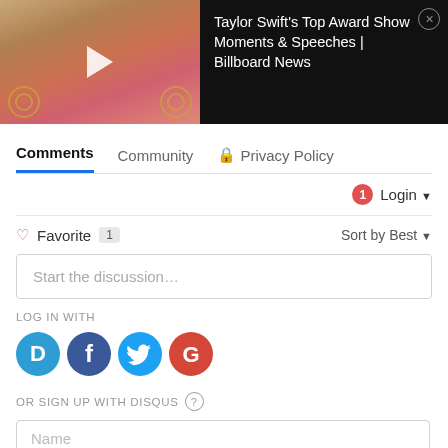[Figure (screenshot): Video thumbnail showing Taylor Swift holding Grammy awards at the Grammys, with CBS logo visible. Black panel on right shows video title.]
Taylor Swift's Top Award Show Moments & Speeches | Billboard News
Comments  Community  🔒 Privacy Policy
Login ▾
♡ Favorite 1  Sort by Best ▾
Start the discussion...
LOG IN WITH
[Figure (logo): Social login icons: Disqus (blue D), Facebook (dark blue f), Twitter (light blue bird), Google (red G)]
OR SIGN UP WITH DISQUS ?
Name